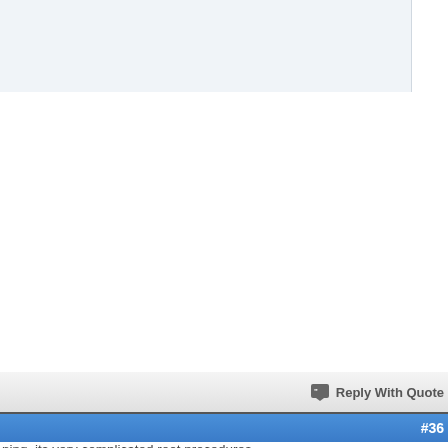Reply With Quote
#36
ning, its very complicated root procedures.